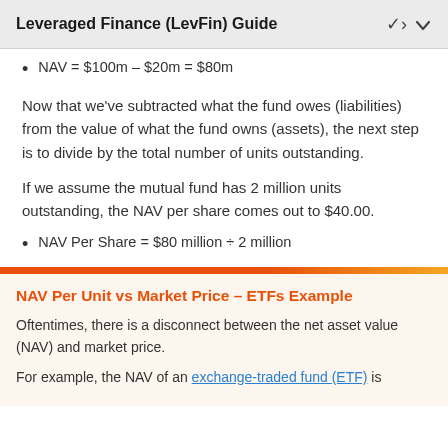Leveraged Finance (LevFin) Guide
NAV = $100m – $20m = $80m
Now that we've subtracted what the fund owes (liabilities) from the value of what the fund owns (assets), the next step is to divide by the total number of units outstanding.
If we assume the mutual fund has 2 million units outstanding, the NAV per share comes out to $40.00.
NAV Per Share = $80 million ÷ 2 million
NAV Per Unit vs Market Price – ETFs Example
Oftentimes, there is a disconnect between the net asset value (NAV) and market price.
For example, the NAV of an exchange-traded fund (ETF) is